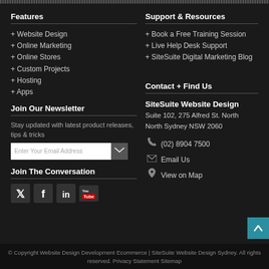Features
+ Website Design
+ Online Marketing
+ Online Stores
+ Custom Projects
+ Hosting
+ Apps
Support & Resources
+ Book a Free Training Session
+ Live Help Desk Support
+ SiteSuite Digital Marketing Blog
Join Our Newsletter
Stay updated with latest product releases, tips & tricks
Contact + Find Us
SiteSuite Website Design
Suite 102, 275 Alfred St. North
North Sydney NSW 2060
(02) 8904 7500
Email Us
View on Map
Join The Conversation
© Copyright Website Design Development Ecommerce | SiteSuite Website Design Sydney. All rights reserved. Privacy Statement Sitemap